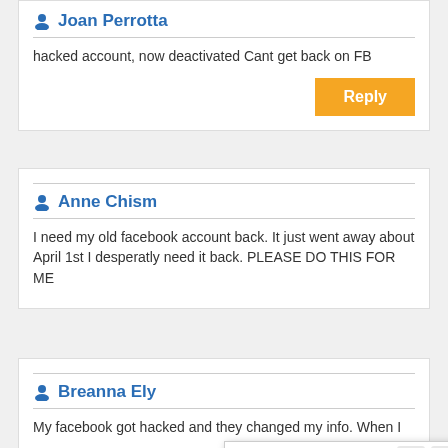Joan Perrotta
hacked account, now deactivated Cant get back on FB
Reply
Anne Chism
I need my old facebook account back. It just went away about April 1st I desperatly need it back. PLEASE DO THIS FOR ME
[Figure (screenshot): Online Troubleshooting & Help Disk popup with 24x7 Support, Experienced Technician, Quick Response, One Stop Solution buttons and phone number 1-802-348-3644]
Breanna Ely
My facebook got hacked and they changed my info. When I